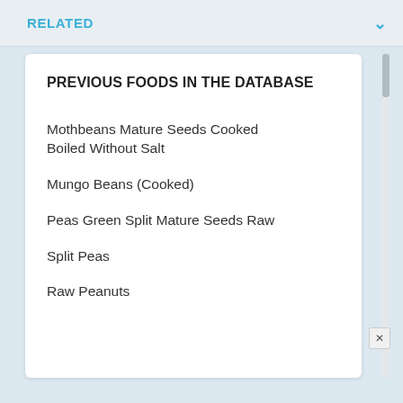RELATED
PREVIOUS FOODS IN THE DATABASE
Mothbeans Mature Seeds Cooked Boiled Without Salt
Mungo Beans (Cooked)
Peas Green Split Mature Seeds Raw
Split Peas
Raw Peanuts